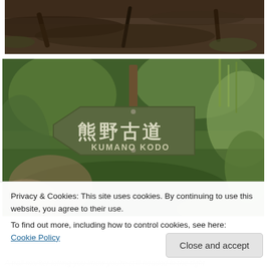[Figure (photo): Top portion of a photo showing tree roots and forest floor with dark soil and green foliage]
[Figure (photo): Photo of a wooden directional trail sign with Japanese characters 熊野古道 and text KUMANO KODO, set in a green forested area]
Privacy & Cookies: This site uses cookies. By continuing to use this website, you agree to their use.
To find out more, including how to control cookies, see here: Cookie Policy
Close and accept
A trail marker letting you know you're still headed in the right